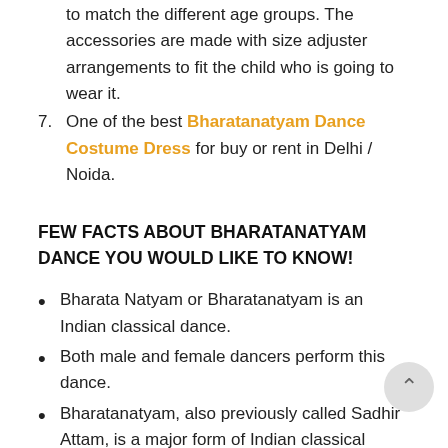to match the different age groups. The accessories are made with size adjuster arrangements to fit the child who is going to wear it.
One of the best Bharatanatyam Dance Costume Dress for buy or rent in Delhi / Noida.
FEW FACTS ABOUT BHARATANATYAM DANCE YOU WOULD LIKE TO KNOW!
Bharata Natyam or Bharatanatyam is an Indian classical dance.
Both male and female dancers perform this dance.
Bharatanatyam, also previously called Sadhir Attam, is a major form of Indian classical dance that originated in Tamil Nadu.
The dance's origins are recorded in Tamil literary texts of the sixth century BC. It was revived in the